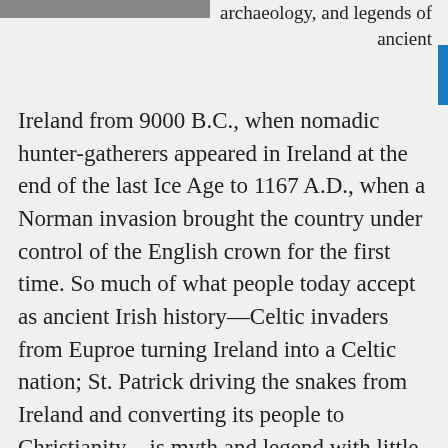[Figure (photo): Partial top image showing foliage/landscape, cropped at top of page]
archaeology, and legends of ancient
Ireland from 9000 B.C., when nomadic hunter-gatherers appeared in Ireland at the end of the last Ice Age to 1167 A.D., when a Norman invasion brought the country under control of the English crown for the first time. So much of what people today accept as ancient Irish history—Celtic invaders from Euproe turning Ireland into a Celtic nation; St. Patrick driving the snakes from Ireland and converting its people to Christianity—is myth and legend with little basis in reality. The truth is more